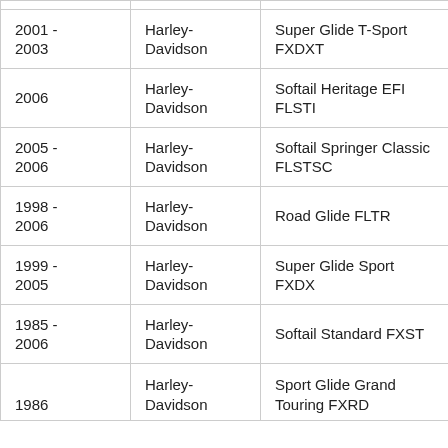| Year | Make | Model |
| --- | --- | --- |
| 2001 - 2003 | Harley-Davidson | Super Glide T-Sport FXDXT |
| 2006 | Harley-Davidson | Softail Heritage EFI FLSTI |
| 2005 - 2006 | Harley-Davidson | Softail Springer Classic FLSTSC |
| 1998 - 2006 | Harley-Davidson | Road Glide FLTR |
| 1999 - 2005 | Harley-Davidson | Super Glide Sport FXDX |
| 1985 - 2006 | Harley-Davidson | Softail Standard FXST |
| 1986 | Harley-Davidson | Sport Glide Grand Touring FXRD |